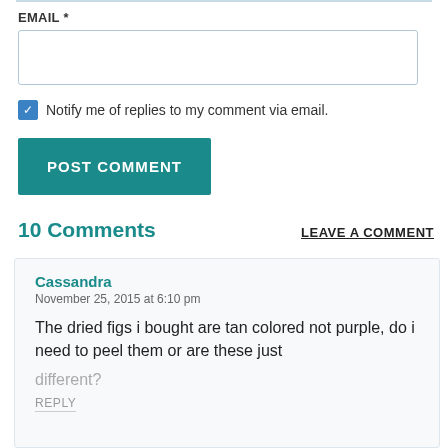EMAIL *
Notify me of replies to my comment via email.
POST COMMENT
10 Comments
LEAVE A COMMENT
Cassandra
November 25, 2015 at 6:10 pm
The dried figs i bought are tan colored not purple,  do i need to peel them or are these just different?
REPLY